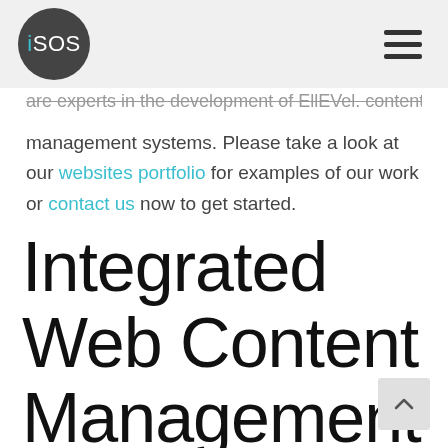iSOS (logo) — navigation menu (hamburger icon)
are experts in the development of EllEVel. content management systems. Please take a look at our websites portfolio for examples of our work or contact us now to get started.
Integrated Web Content Management Systems